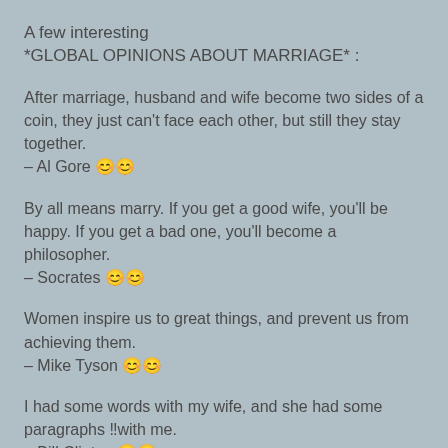A few interesting
*GLOBAL OPINIONS ABOUT MARRIAGE* :
After marriage, husband and wife become two sides of a coin, they just can't face each other, but still they stay together.
– Al Gore 😊😊
By all means marry. If you get a good wife, you'll be happy. If you get a bad one, you'll become a philosopher.
– Socrates 😊😊
Women inspire us to great things, and prevent us from achieving them.
– Mike Tyson 😊😊
I had some words with my wife, and she had some paragraphs ‼with me.
– Bill Clinton 😊😊
"There's a way of transferring funds that is even faster than